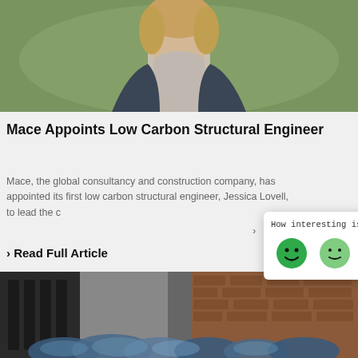[Figure (photo): Photo of a woman in a grey turtleneck and dark blazer outdoors with green background]
Mace Appoints Low Carbon Structural Engineer
Mace, the global consultancy and construction company, has appointed its first low carbon structural engineer, Jessica Lovell, to lead the c
Read Full Article
[Figure (infographic): Feedback popup widget asking 'How interesting is our news today?' with four emoji faces ranging from very happy (dark green) to unhappy (dark red/pink)]
[Figure (photo): Photo of bags of recycled plastic/waste materials piled in front of a brick building]